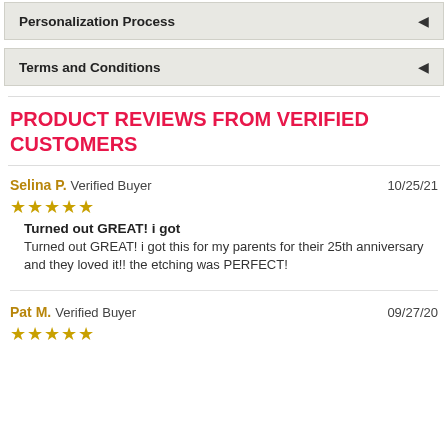Personalization Process
Terms and Conditions
PRODUCT REVIEWS FROM VERIFIED CUSTOMERS
Selina P. Verified Buyer 10/25/21 ★★★★★ Turned out GREAT! i got Turned out GREAT! i got this for my parents for their 25th anniversary and they loved it!! the etching was PERFECT!
Pat M. Verified Buyer 09/27/20 ★★★★★